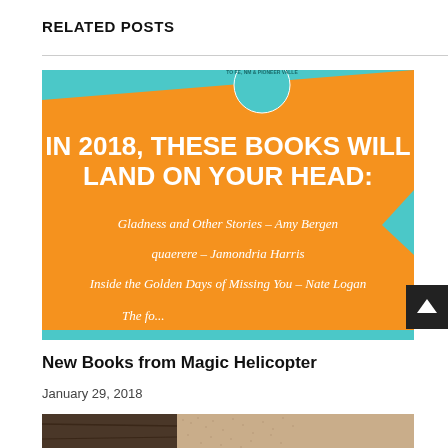RELATED POSTS
[Figure (photo): Orange and teal book fair poster reading 'IN 2018, THESE BOOKS WILL LAND ON YOUR HEAD:' with book titles: Gladness and Other Stories – Amy Bergen, quaerere – Jamondria Harris, Inside the Golden Days of Missing You – Nate Logan]
New Books from Magic Helicopter
January 29, 2018
[Figure (photo): Partial image showing dark wood and tan fabric textures]